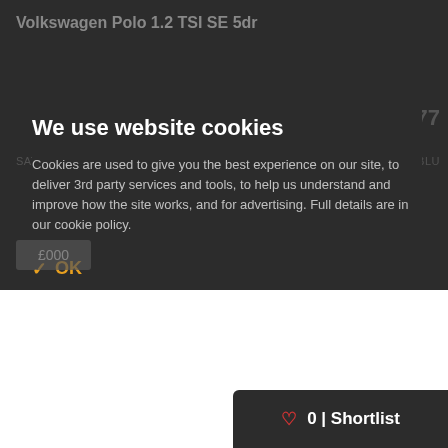Volkswagen Polo 1.2 TSI SE 5dr
We use website cookies
Cookies are used to give you the best experience on our site, to deliver 3rd party services and tools, to help us understand and improve how the site works, and for advertising. Full details are in our cookie policy.
✓ OK
♡ 0 | Shortlist